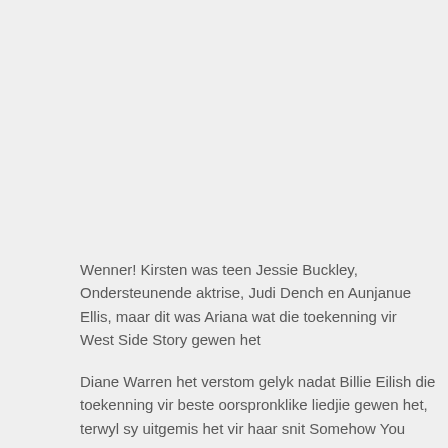Wenner! Kirsten was teen Jessie Buckley, Ondersteunende aktrise, Judi Dench en Aunjanue Ellis, maar dit was Ariana wat die toekenning vir West Side Story gewen het
Diane Warren het verstom gelyk nadat Billie Eilish die toekenning vir beste oorspronklike liedjie gewen het, terwyl sy uitgemis het vir haar snit Somehow You